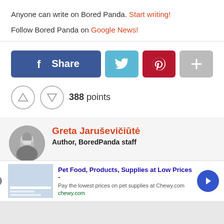Anyone can write on Bored Panda. Start writing!
Follow Bored Panda on Google News!
[Figure (infographic): Social share buttons: Facebook Share, Twitter, Pinterest, and More (+)]
388 points
[Figure (infographic): Author box with avatar of Greta Jaruševičiūtė, Author BoredPanda staff, bio text: Greta is a Photo Editor-in-Chief at Bored Panda with a BA]
[Figure (infographic): Advertisement banner: Pet Food, Products, Supplies at Low Prices - Pay the lowest prices on pet supplies at Chewy.com, chewy.com]